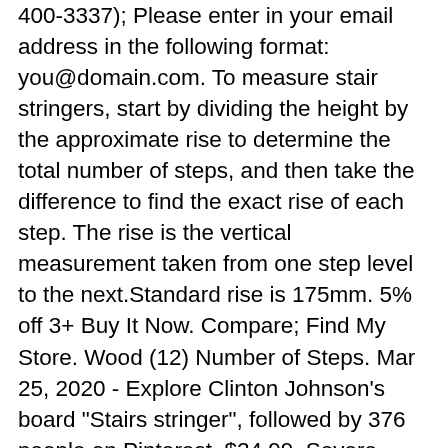400-3337); Please enter in your email address in the following format: you@domain.com. To measure stair stringers, start by dividing the height by the approximate rise to determine the total number of steps, and then take the difference to find the exact rise of each step. The rise is the vertical measurement taken from one step level to the next.Standard rise is 175mm. 5% off 3+ Buy It Now. Compare; Find My Store. Wood (12) Number of Steps. Mar 25, 2020 - Explore Clinton Johnson's board "Stairs stringer", followed by 376 people on Pinterest. $24.99. Severe Weather 3-Step Pressure Treated Pine Deck Stair Stringer. All models come with height adjustable steel top hook straps which allow for one extra stair riser (see # steps/risers above). 3-Step Steel Stair Riser in Black (Includes 1 Stair Stringer) Building stairs for your patio or deck has never been easier! The height of the pre-cut stair stringer will determine the height of your deck. Visit us today for the widest range of Landscape products. Go to My Project List Continue Shopping You are not logged in to save your list permanently. 3 Step Stringer. This stringer has been pressure treated for ground contact (CC)...